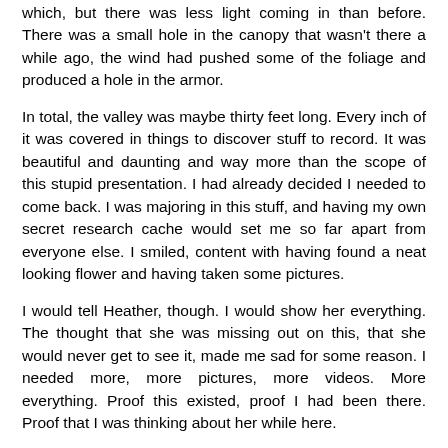which, but there was less light coming in than before. There was a small hole in the canopy that wasn't there a while ago, the wind had pushed some of the foliage and produced a hole in the armor.
In total, the valley was maybe thirty feet long. Every inch of it was covered in things to discover stuff to record. It was beautiful and daunting and way more than the scope of this stupid presentation. I had already decided I needed to come back. I was majoring in this stuff, and having my own secret research cache would set me so far apart from everyone else. I smiled, content with having found a neat looking flower and having taken some pictures.
I would tell Heather, though. I would show her everything. The thought that she was missing out on this, that she would never get to see it, made me sad for some reason. I needed more, more pictures, more videos. More everything. Proof this existed, proof I had been there. Proof that I was thinking about her while here.
I stayed a while longer and gathered my proof. I grabbed a few specimens, moss and short grass and